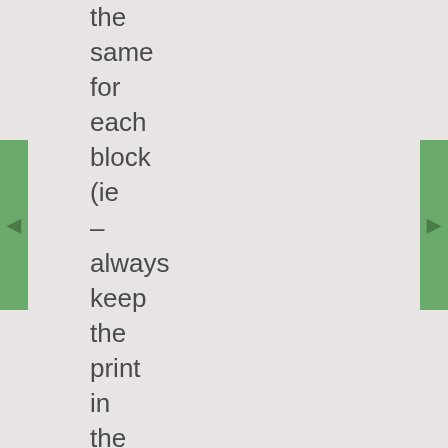the same for each block (ie – always keep the print in the top left when sewing these sections together).